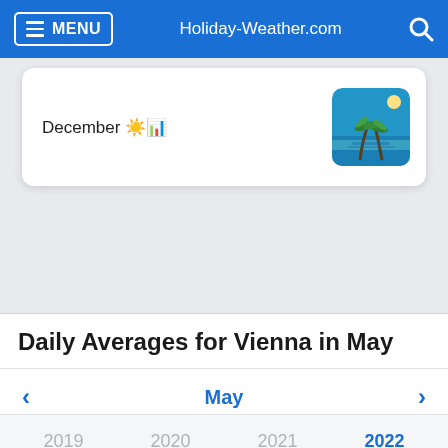MENU  Holiday-Weather.com
December ☀📊
[Figure (photo): Tropical beach scene with palm trees and blue water]
Daily Averages for Vienna in May
< May >
2019  2020  2021  2022